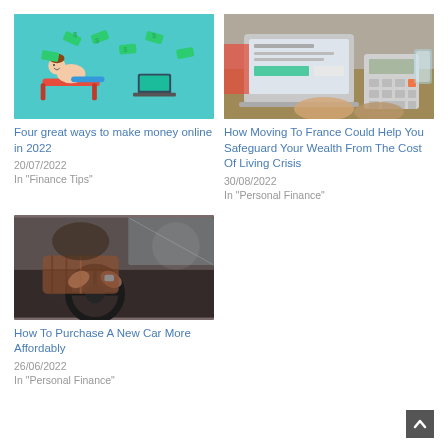[Figure (illustration): Cartoon illustration of a man reclining on a chair with money flying around him and a laptop on a table, teal background — representing making money online]
Four great ways to make money online in 2022
20/07/2022
In "Finance Tips"
[Figure (photo): Photo of hands using a calculator and laptop on a wooden desk with notebooks and a glass of water — representing personal finance and budgeting]
How Moving To France Could Help You Safeguard Your Wealth From The Cost Of Living Crisis
30/08/2022
In "Personal Finance"
[Figure (photo): Photo of a person wearing a plaid shirt driving a car, hands on steering wheel — representing purchasing a car]
How To Purchase A New Car More Affordably
26/06/2022
In "Personal Finance"